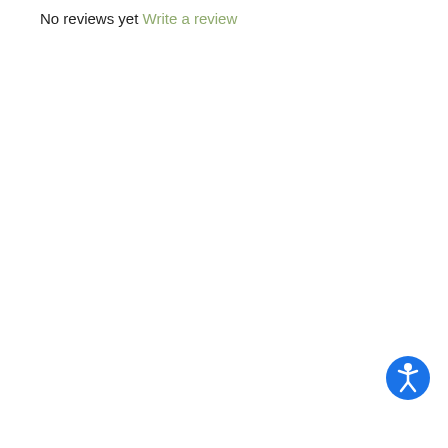No reviews yet Write a review
[Figure (illustration): Blue circular accessibility button with white human figure icon (wheelchair accessible person symbol) positioned near the bottom-right of the page]